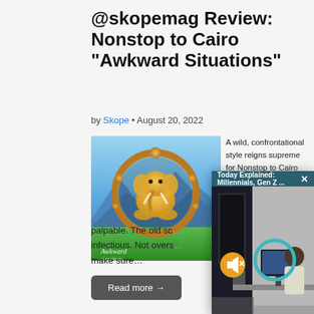@skopemag Review: Nonstop to Cairo “Awkward Situations”
by Skope • August 20, 2022
[Figure (illustration): Album cover for Nonstop to Cairo 'Awkward Situations' — stylized elephant in a meditative pose inside an ornate circular golden frame, against a sky and green meadow background, with cursive text 'Awkward Situations' at the bottom]
A wild, confrontational style reigns supreme for Nonstop to Cairo holds nothing back with “Awkward Situations”. Volume is more than a
palpable. The old sc… infectious. Not overs… make sure…
[Figure (screenshot): Pop-up video overlay titled 'Today Explained: Millennials, Gen Z ...' with a close button X, showing a video thumbnail of an office scene with a person sitting at a desk with a computer, a teal circle graphic, and a muted/unmuted button icon]
Read more →